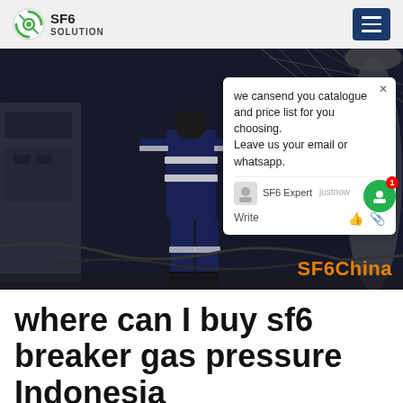SF6 SOLUTION
[Figure (photo): Worker in reflective safety gear working at night at an industrial electrical substation. A chat popup overlay shows: 'we can send you catalogue and price list for you choosing. Leave us your email or whatsapp.' with SF6 Expert, just now, Write fields. SF6China watermark in orange at bottom right.]
where can I buy sf6 breaker gas pressure Indonesia